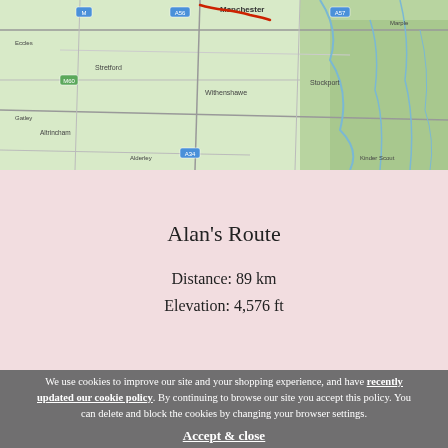[Figure (map): A road map showing the Manchester area in England, with roads, green terrain, and place names visible. A red route line is visible near Manchester.]
Alan's Route
Distance: 89 km
Elevation: 4,576 ft
We use cookies to improve our site and your shopping experience, and have recently updated our cookie policy. By continuing to browse our site you accept this policy. You can delete and block the cookies by changing your browser settings.

Accept & close